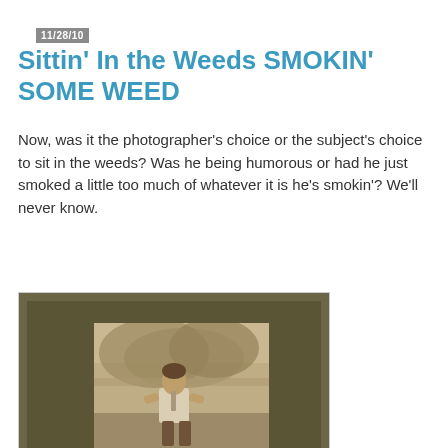11/28/10
Sittin' In the Weeds SMOKIN' SOME WEED
Now, was it the photographer's choice or the subject's choice to sit in the weeds? Was he being humorous or had he just smoked a little too much of whatever it is he's smokin'? We'll never know.
[Figure (photo): Antique sepia-toned cabinet card photograph mounted on dark cardboard mat, showing a man sitting outdoors in a garden or yard area with plants and a fence visible in the background. The man is wearing light-colored clothing and sitting casually.]